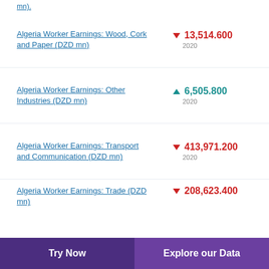Algeria Worker Earnings: Wood, Cork and Paper (DZD mn)
Algeria Worker Earnings: Other Industries (DZD mn)
Algeria Worker Earnings: Transport and Communication (DZD mn)
Algeria Worker Earnings: Trade (DZD mn)
Try Now | Explore our Data